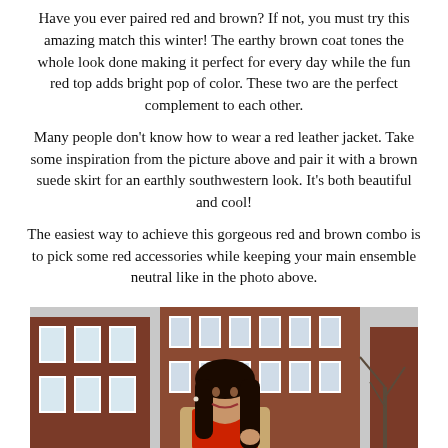Have you ever paired red and brown? If not, you must try this amazing match this winter! The earthy brown coat tones the whole look done making it perfect for every day while the fun red top adds bright pop of color. These two are the perfect complement to each other.
Many people don't know how to wear a red leather jacket. Take some inspiration from the picture above and pair it with a brown suede skirt for an earthly southwestern look. It's both beautiful and cool!
The easiest way to achieve this gorgeous red and brown combo is to pick some red accessories while keeping your main ensemble neutral like in the photo above.
[Figure (photo): A woman with long dark hair wearing a red top and a beige/camel coat, standing in front of a red brick building with white-framed windows and bare winter trees in the background.]